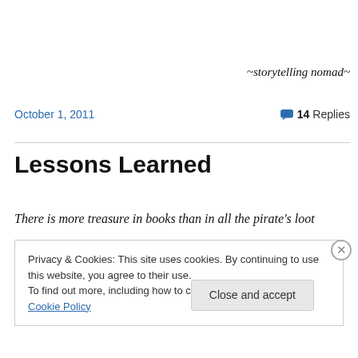~storytelling nomad~
October 1, 2011    💬 14 Replies
Lessons Learned
There is more treasure in books than in all the pirate's loot
Privacy & Cookies: This site uses cookies. By continuing to use this website, you agree to their use.
To find out more, including how to control cookies, see here: Cookie Policy
Close and accept